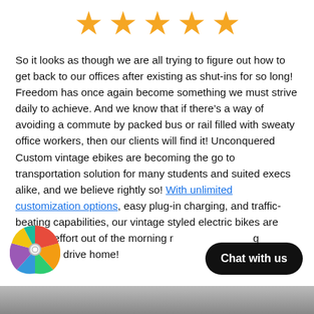[Figure (illustration): Five gold/orange star rating icons arranged in a row]
So it looks as though we are all trying to figure out how to get back to our offices after existing as shut-ins for so long! Freedom has once again become something we must strive daily to achieve. And we know that if there's a way of avoiding a commute by packed bus or rail filled with sweaty office workers, then our clients will find it! Unconquered Custom vintage ebikes are becoming the go to transportation solution for many students and suited execs alike, and we believe rightly so! With unlimited customization options, easy plug-in charging, and traffic-beating capabilities, our vintage styled electric bikes are taking the effort out of the morning ride and decompressing from your drive home!
[Figure (illustration): Colorful spinning prize wheel widget in bottom left corner]
[Figure (illustration): Black rounded Chat with us button overlay in bottom right]
[Figure (photo): Partial photo strip at the very bottom of the page]